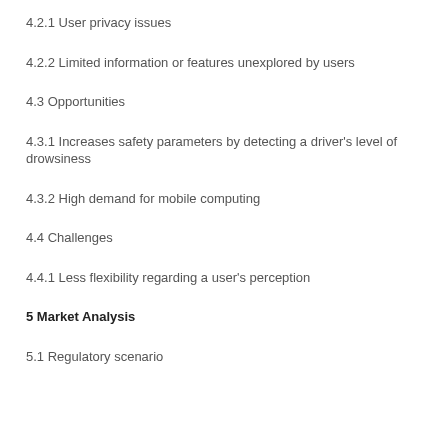4.2.1 User privacy issues
4.2.2 Limited information or features unexplored by users
4.3 Opportunities
4.3.1 Increases safety parameters by detecting a driver's level of drowsiness
4.3.2 High demand for mobile computing
4.4 Challenges
4.4.1 Less flexibility regarding a user's perception
5 Market Analysis
5.1 Regulatory scenario